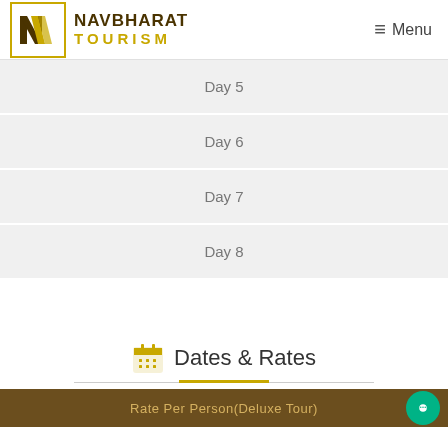NAVBHARAT TOURISM | Menu
Day 5
Day 6
Day 7
Day 8
Dates & Rates
Rate Per Person(Deluxe Tour)